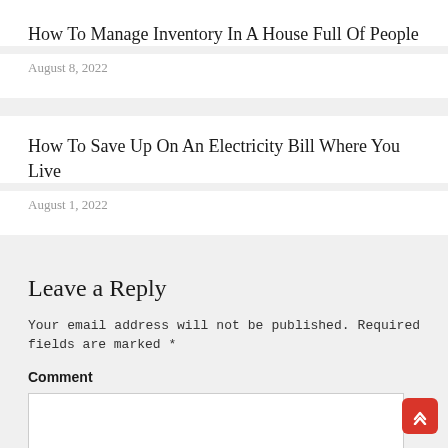How To Manage Inventory In A House Full Of People
August 8, 2022
How To Save Up On An Electricity Bill Where You Live
August 1, 2022
Leave a Reply
Your email address will not be published. Required fields are marked *
Comment